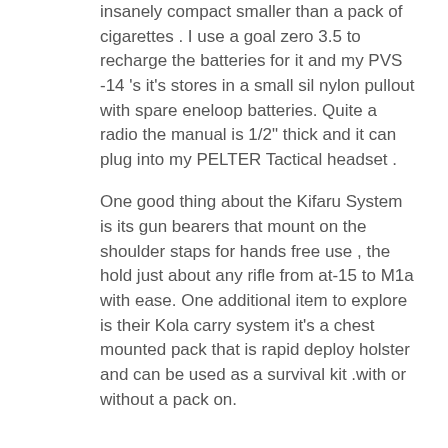insanely compact smaller than a pack of cigarettes . I use a goal zero 3.5 to recharge the batteries for it and my PVS -14 's it's stores in a small sil nylon pullout with spare eneloop batteries. Quite a radio the manual is 1/2" thick and it can plug into my PELTER Tactical headset .
One good thing about the Kifaru System is its gun bearers that mount on the shoulder staps for hands free use , the hold just about any rifle from at-15 to M1a with ease. One additional item to explore is their Kola carry system it's a chest mounted pack that is rapid deploy holster and can be used as a survival kit .with or without a pack on.